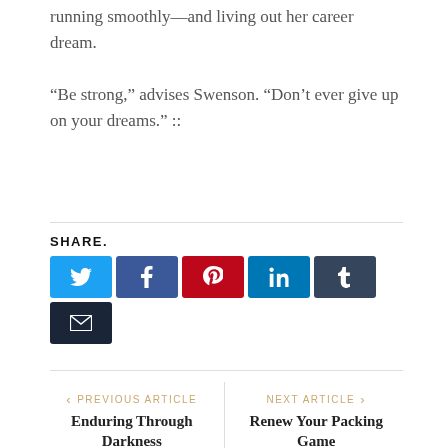running smoothly—and living out her career dream.
“Be strong,” advises Swenson. “Don’t ever give up on your dreams.” ::
[Figure (infographic): Social share buttons row: Twitter (blue), Facebook (dark blue), Pinterest (red), LinkedIn (teal), Tumblr (dark slate), and Email (dark navy) icon buttons with a SHARE. label above.]
< PREVIOUS ARTICLE
Enduring Through Darkness
NEXT ARTICLE >
Renew Your Packing Game